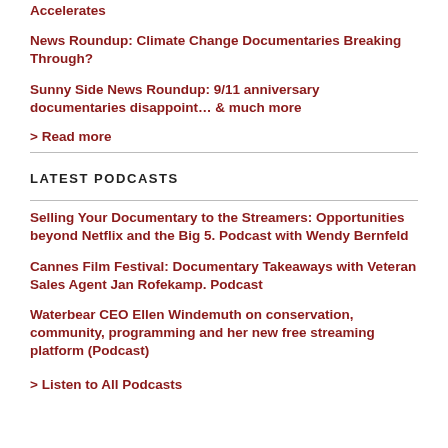Accelerates
News Roundup: Climate Change Documentaries Breaking Through?
Sunny Side News Roundup: 9/11 anniversary documentaries disappoint… & much more
> Read more
LATEST PODCASTS
Selling Your Documentary to the Streamers: Opportunities beyond Netflix and the Big 5. Podcast with Wendy Bernfeld
Cannes Film Festival: Documentary Takeaways with Veteran Sales Agent Jan Rofekamp. Podcast
Waterbear CEO Ellen Windemuth on conservation, community, programming and her new free streaming platform (Podcast)
> Listen to All Podcasts